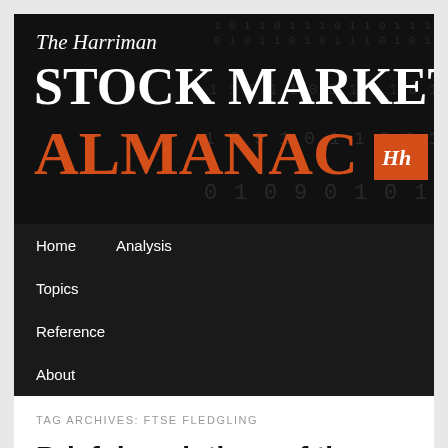[Figure (logo): The Harriman Stock Market Almanac logo banner — dark background with binary number texture, white italic serif text 'The Harriman', large white bold 'STOCK MARKET', large orange bold 'ALMANAC', and an orange box with 'Hh' publisher logo]
Home  Analysis  Topics  Reference  About
TAG ARCHIVES: FTSE FLEDGLING
Brief descriptions of the FTSE UK indices